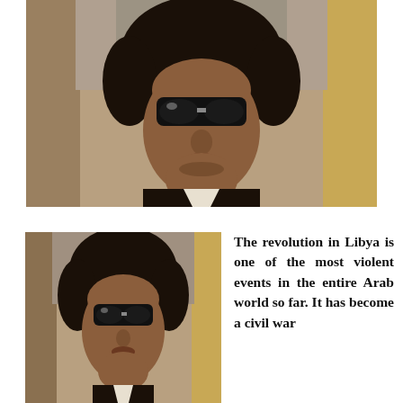[Figure (photo): Close-up photograph of a man with curly dark hair wearing large dark sunglasses, looking upward with a serious expression. Background shows stone or concrete architecture with warm tones.]
[Figure (photo): Same photograph repeated at smaller scale, cropped to the upper portion of the same man with curly dark hair and dark sunglasses, against same architectural background.]
The revolution in Libya is one of the most violent events in the entire Arab world so far. It has become a civil war